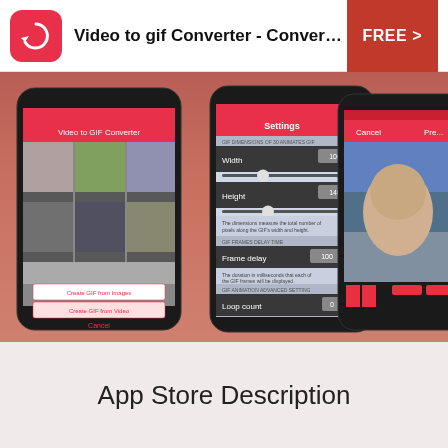Video to gif Converter - Convert Gif fro… FREE >
[Figure (screenshot): Three smartphone screenshots of the Video to GIF Converter app showing: 1) main screen with video thumbnails and options 'Create GIF from Images', 'Create GIF from Video', 'Cancel'; 2) Settings screen with Width (100), Height (140), Frame delay (100), Loop count (0), Aspect Fit controls; 3) partial preview screen showing a man's face on a mountain background with color bar UI.]
App Store Description